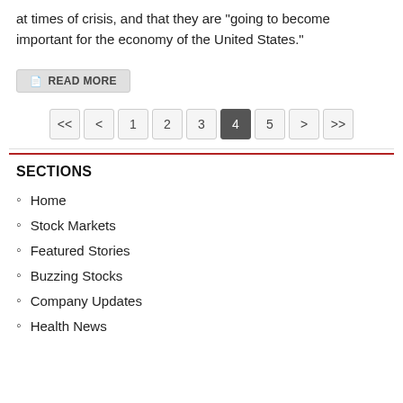at times of crisis, and that they are "going to become important for the economy of the United States."
READ MORE
Pagination: << < 1 2 3 4 5 > >>
SECTIONS
Home
Stock Markets
Featured Stories
Buzzing Stocks
Company Updates
Health News